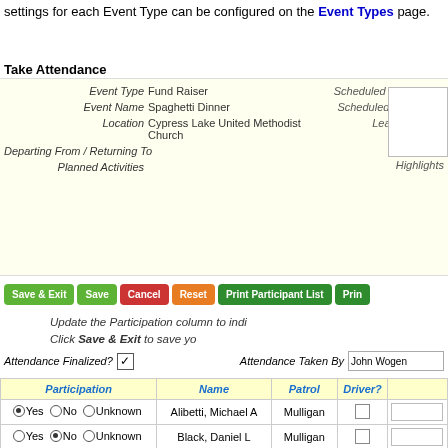settings for each Event Type can be configured on the Event Types page.
Take Attendance
|  |  |
| --- | --- |
| Event Type | Fund Raiser | Scheduled Start | 07... |
| Event Name | Spaghetti Dinner | Scheduled End | 07... |
| Location | Cypress Lake United Methodist Church | Leaders |  |
| Departing From / Returning To |  |  |  |
| Planned Activities |  |  |  |
| Highlights |  |  |  |
[Figure (screenshot): Row of action buttons: Save & Exit (green), Save (green), Cancel (red), Reset (orange), Print Participant List (dark green), Print... (dark green)]
Update the Participation column to indi... Click Save & Exit to save yo...
Attendance Finalized? [checked] Attendance Taken By John Wogen...
| Participation | Name | Patrol | Driver? |  |
| --- | --- | --- | --- | --- |
| Yes No Unknown | Alibetti, Michael A | Mulligan |  |  |
| Yes No Unknown | Black, Daniel L | Mulligan |  |  |